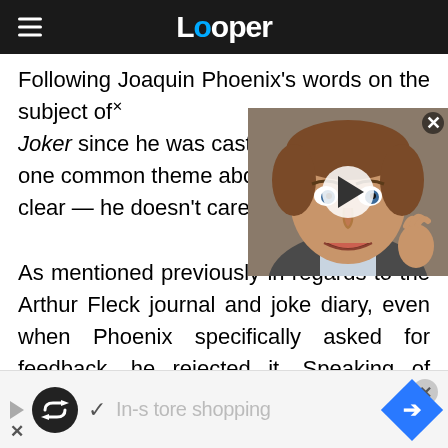Looper
Following Joaquin Phoenix's words on the subject of Joker since he was cast in t[he role, there has been] one common theme about h[is approach that is] clear — he doesn't care abo[ut outside input.]
[Figure (photo): Video thumbnail of a man with brown curly hair making an expressive face, with a play button overlay. Close button in top right corner.]
As mentioned previously in regards to the Arthur Fleck journal and joke diary, even when Phoenix specifically asked for feedback, he rejected it. Speaking of getting started on the journal, Phoenix said he initially asked Todd Phillips for suggestions and then "after a few days" he ignored the directo[r]
In-store shopping